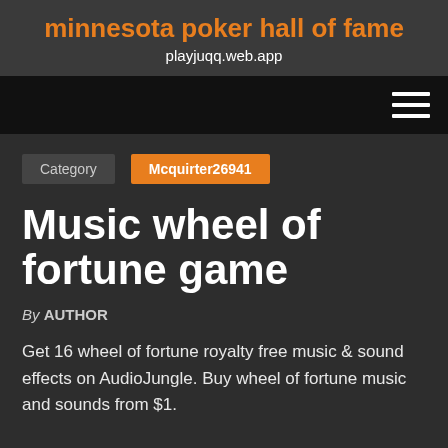minnesota poker hall of fame
playjuqq.web.app
Category   Mcquirter26941
Music wheel of fortune game
By AUTHOR
Get 16 wheel of fortune royalty free music & sound effects on AudioJungle. Buy wheel of fortune music and sounds from $1.